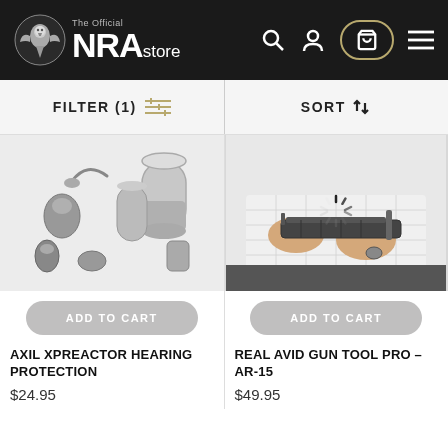The Official NRA Store
FILTER (1)
SORT
[Figure (photo): AXIL XPREACTOR hearing protection earplugs with metal carrying case, shown on white background]
[Figure (photo): Person in white shirt handling a Real Avid Gun Tool Pro AR-15 multi-tool]
ADD TO CART
ADD TO CART
AXIL XPREACTOR HEARING PROTECTION
REAL AVID GUN TOOL PRO – AR-15
$24.95
$49.95